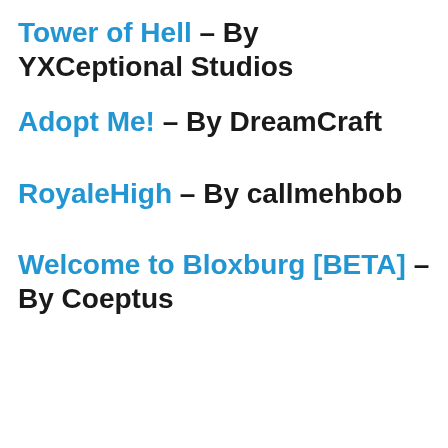Tower of Hell – By YXCeptional Studios
Adopt Me! – By DreamCraft
RoyaleHigh – By callmehbob
Welcome to Bloxburg [BETA] – By Coeptus